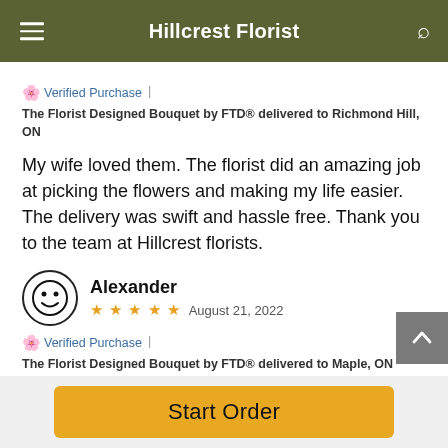Hillcrest Florist
🌸 Verified Purchase | The Florist Designed Bouquet by FTD® delivered to Richmond Hill, ON
My wife loved them. The florist did an amazing job at picking the flowers and making my life easier. The delivery was swift and hassle free. Thank you to the team at Hillcrest florists.
Alexander — ★★★★★ — August 21, 2022
🌸 Verified Purchase | The Florist Designed Bouquet by FTD® delivered to Maple, ON
I am ordering always online and we are always happy with
Start Order